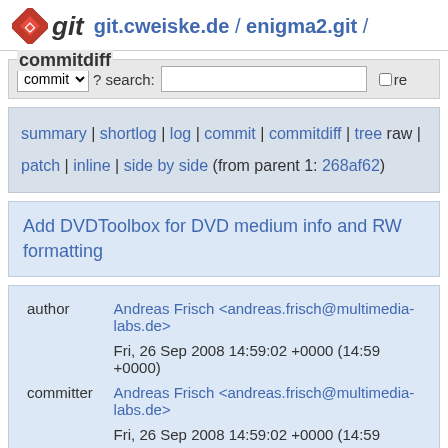git  git.cweiske.de / enigma2.git /
commitdiff | commit ▾ ? search: □ re
summary | shortlog | log | commit | commitdiff | tree raw | patch | inline | side by side (from parent 1: 268af62)
Add DVDToolbox for DVD medium info and RW formatting
| field | value |
| --- | --- |
| author | Andreas Frisch <andreas.frisch@multimedia-labs.de> |
|  | Fri, 26 Sep 2008 14:59:02 +0000 (14:59 +0000) |
| committer | Andreas Frisch <andreas.frisch@multimedia-labs.de> |
|  | Fri, 26 Sep 2008 14:59:02 +0000 (14:59 |